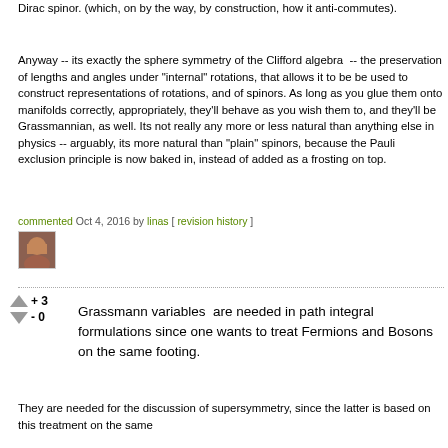Dirac spinor. (which, on by the way, by construction, how it anti-commutes).
Anyway -- its exactly the sphere symmetry of the Clifford algebra  -- the preservation of lengths and angles under "internal" rotations, that allows it to be be used to construct representations of rotations, and of spinors. As long as you glue them onto manifolds correctly, appropriately, they'll behave as you wish them to, and they'll be Grassmannian, as well. Its not really any more or less natural than anything else in physics -- arguably, its more natural than "plain" spinors, because the Pauli exclusion principle is now baked in, instead of added as a frosting on top.
commented Oct 4, 2016 by linas [ revision history ]
Grassmann variables  are needed in path integral formulations since one wants to treat Fermions and Bosons on the same footing.
They are needed for the discussion of supersymmetry, since the latter is based on this treatment on the same